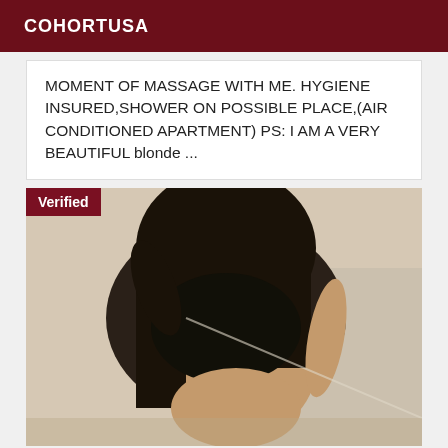COHORTUSA
MOMENT OF MASSAGE WITH ME. HYGIENE INSURED,SHOWER ON POSSIBLE PLACE,(AIR CONDITIONED APARTMENT) PS: I AM A VERY BEAUTIFUL blonde ...
[Figure (photo): Person taking a mirror selfie wearing dark bikini top, photo has a 'Verified' badge overlay in top left corner]